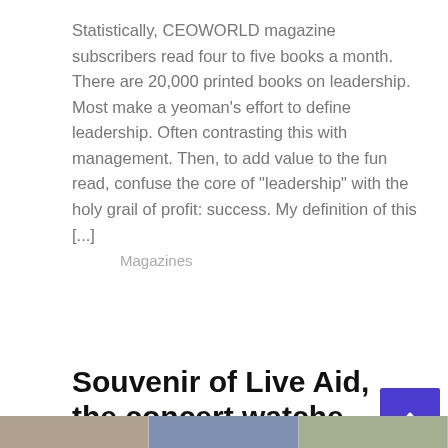Statistically, CEOWORLD magazine subscribers read four to five books a month. There are 20,000 printed books on leadership. Most make a yeoman's effort to define leadership. Often contrasting this with management. Then, to add value to the fun read, confuse the core of "leadership" with the holy grail of profit: success. My definition of this [...]
Magazines
Read More
Souvenir of Live Aid, the concert watche...
[Figure (other): Back to top arrow button (purple square with white chevron up icon)]
[Figure (photo): Bottom strip showing partial thumbnail images of articles]